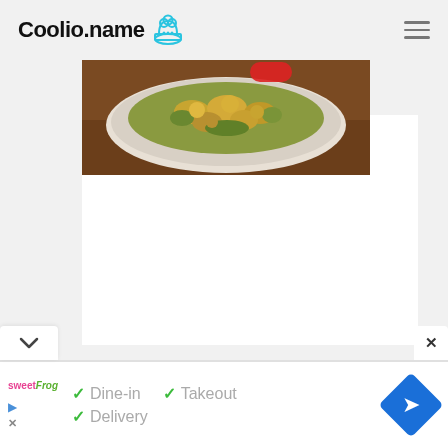Coolio.name
[Figure (photo): Food photo showing a casserole dish with baked vegetables/gratin on a wooden table]
[Figure (infographic): Service availability info: checkmarks next to Dine-in, Takeout, Delivery]
Dine-in   Takeout   Delivery